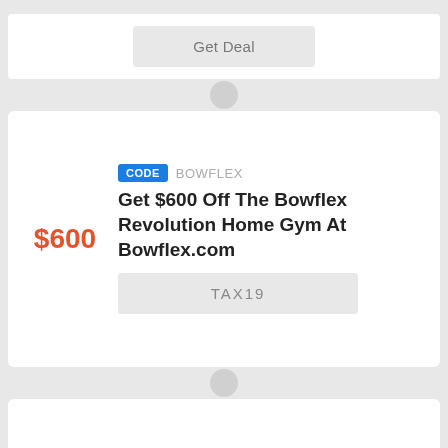Get Deal
CODE BOWFLEX
Get $600 Off The Bowflex Revolution Home Gym At Bowflex.com
TAX19
$600
CODE BOWFLEX
Bowflex Memorial Day Promo Codes Up To 40% Off With Free Gift
40%